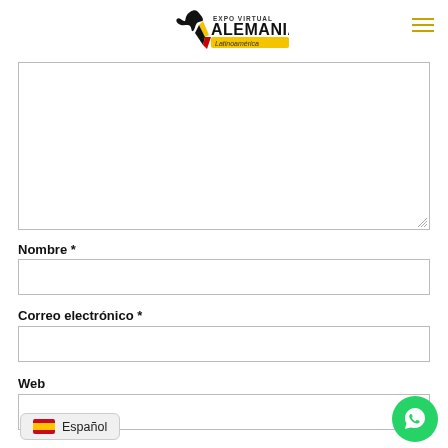Expo Virtual Alemania Latinoamérica
[Figure (screenshot): Web form with textarea and input fields for Nombre, Correo electrónico, and Web, with a language selector showing Español and a WhatsApp floating button]
Nombre *
Correo electrónico *
Web
Español